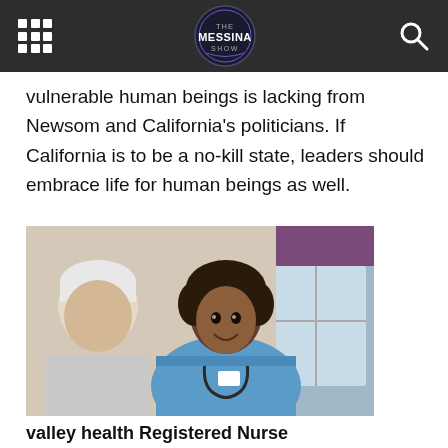Messina Show navigation header
vulnerable human beings is lacking from Newsom and California's politicians. If California is to be a no-kill state, leaders should embrace life for human beings as well.
[Figure (photo): A smiling Black female nurse in blue scrubs with stethoscope talking with an elderly white-haired man]
valley health Registered Nurse (RN/BSN/ASN) Jobs in Ashburn Apply Now
jobble.com
Outbrain
Read the publicis groupe System Architect And Senior Engineer Jobs in Ashburn Apply Now
jobble.com